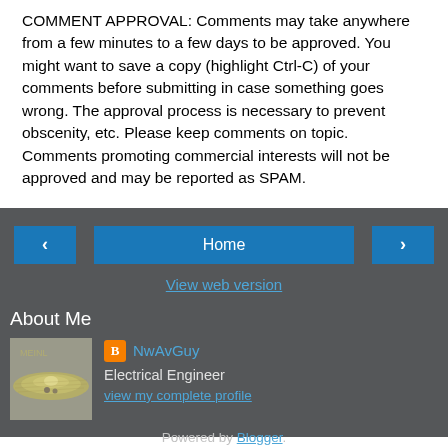COMMENT APPROVAL: Comments may take anywhere from a few minutes to a few days to be approved. You might want to save a copy (highlight Ctrl-C) of your comments before submitting in case something goes wrong. The approval process is necessary to prevent obscenity, etc. Please keep comments on topic. Comments promoting commercial interests will not be approved and may be reported as SPAM.
[Figure (screenshot): Navigation bar with left arrow button, Home button (center), and right arrow button on dark grey background, plus View web version link and About Me section with profile image (cymbal photo), Blogger icon, NwAvGuy name, Electrical Engineer role, View my complete profile link, and Powered by Blogger footer.]